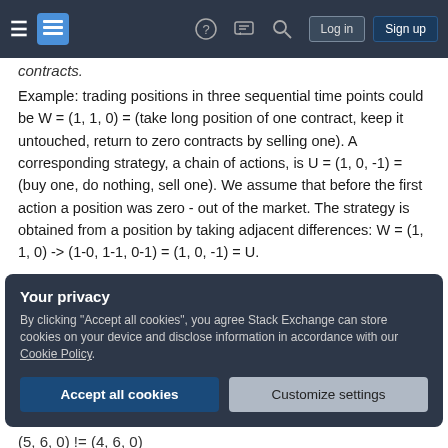Stack Exchange navigation bar with hamburger menu, logo, help, chat, search, Log in, Sign up buttons
contracts.
Example: trading positions in three sequential time points could be W = (1, 1, 0) = (take long position of one contract, keep it untouched, return to zero contracts by selling one). A corresponding strategy, a chain of actions, is U = (1, 0, -1) = (buy one, do nothing, sell one). We assume that before the first action a position was zero - out of the market. The strategy is obtained from a position by taking adjacent differences: W = (1, 1, 0) -> (1-0, 1-1, 0-1) = (1, 0, -1) = U.
Your privacy
By clicking "Accept all cookies", you agree Stack Exchange can store cookies on your device and disclose information in accordance with our Cookie Policy.
Accept all cookies
Customize settings
(5, 6, 0) != (4, 6, 0)